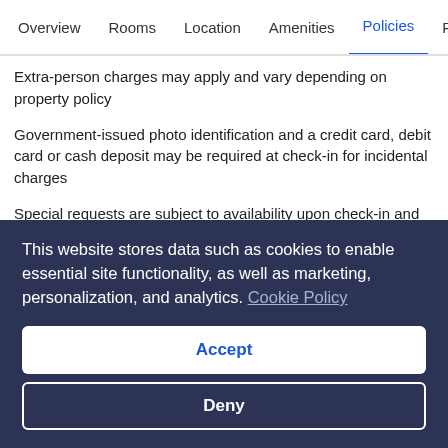Overview  Rooms  Location  Amenities  Policies  R
Extra-person charges may apply and vary depending on property policy
Government-issued photo identification and a credit card, debit card or cash deposit may be required at check-in for incidental charges
Special requests are subject to availability upon check-in and may incur additional charges; special requests cannot be guaranteed
This property accepts credit cards; cash is not accepted
Be prepared: check the latest COVID-19 travel requirements and measures in place for this destination before you travel.
This website stores data such as cookies to enable essential site functionality, as well as marketing, personalization, and analytics. Cookie Policy
Accept
Deny